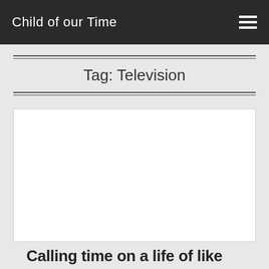Child of our Time
Tag: Television
[Figure (other): White blank article card image placeholder]
Calling time on a life of like...